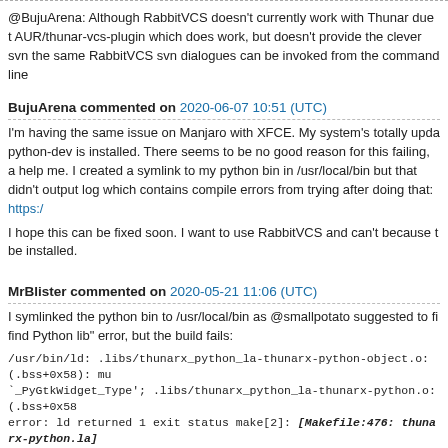@BujuArena: Although RabbitVCS doesn't currently work with Thunar due to AUR/thunar-vcs-plugin which does work, but doesn't provide the clever svn the same RabbitVCS svn dialogues can be invoked from the command line
BujuArena commented on 2020-06-07 10:51 (UTC)
I'm having the same issue on Manjaro with XFCE. My system's totally updated, python-dev is installed. There seems to be no good reason for this failing, and googling doesn't help me. I created a symlink to my python bin in /usr/local/bin but that didn't help. Here's an output log which contains compile errors from trying after doing that: https://...
I hope this can be fixed soon. I want to use RabbitVCS and can't because the plugin can't be installed.
MrBlister commented on 2020-05-21 11:06 (UTC)
I symlinked the python bin to /usr/local/bin as @smallpotato suggested to fix the "can't find Python lib" error, but the build fails:
/usr/bin/ld: .libs/thunarx_python_la-thunarx-python-object.o:(.bss+0x58): mu `_PyGtkWidget_Type'; .libs/thunarx_python_la-thunarx-python.o:(.bss+0x58 error: ld returned 1 exit status make[2]: [Makefile:476: thunarx-python.la] directory '/home/tony/.cache/yay/thunarx-python/src/thunarx-python-0 [Makefile:441: all-recursive] Error 1 make[1]: Leaving directory '/home/tony/ python/src/thunarx-python-0.5.1' make: *** [Makefile:371: all] Error 2 ==> Eb build().